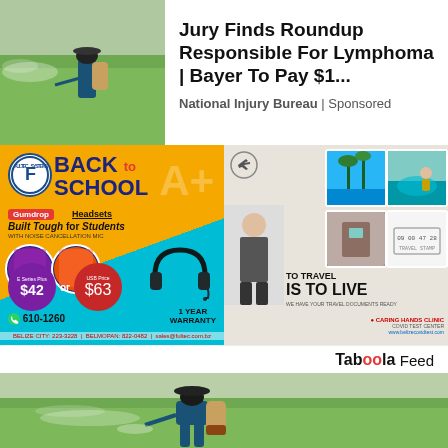[Figure (photo): Man spraying pesticide in green field (top left thumbnail)]
Jury Finds Roundup Responsible For Lymphoma | Bayer To Pay $1...
National Injury Bureau | Sponsored
[Figure (infographic): Back to School headset advertisement: Gumdrop Headsets, Built Tough for Students, $42 or $63, 610-1260, BELIZE CITY: 223-3228, BELMOPAN: 822-0482, sales@fultec.com.bz]
[Figure (infographic): Travel advertisement: TO TRAVEL IS TO LIVE, Caring Hands Clinic COVID Test Center, www.belizecovidtest.com]
Taboola Feed
[Figure (photo): Man with backpack sprayer walking through green rice/grass field]